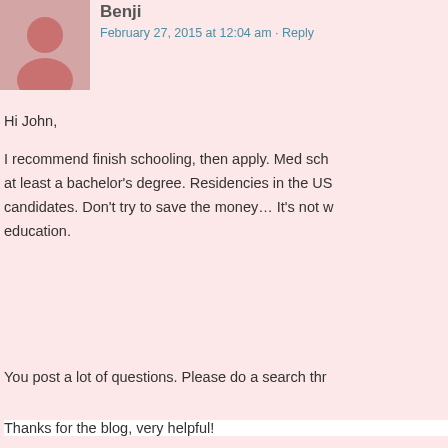Benji
February 27, 2015 at 12:04 am · Reply
Hi John,
I recommend finish schooling, then apply. Med sch at least a bachelor's degree. Residencies in the US candidates. Don't try to save the money… It's not w education.
You post a lot of questions. Please do a search thr
Benji
Ash
March 10, 2015 at 11:46 pm · Reply
Hey Benji,
Thanks for the blog, very helpful!